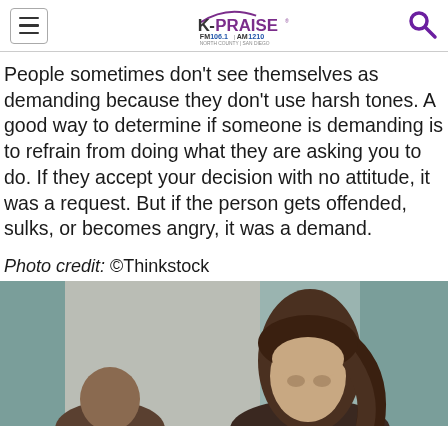K-PRAISE FM 106.1 AM 1210 North County San Diego
People sometimes don't see themselves as demanding because they don't use harsh tones. A good way to determine if someone is demanding is to refrain from doing what they are asking you to do. If they accept your decision with no attitude, it was a request. But if the person gets offended, sulks, or becomes angry, it was a demand.
Photo credit: ©Thinkstock
[Figure (photo): A man and a woman in an apparent conflict or tense conversation, the woman looking away with a serious expression, blurred background with teal/green tones.]